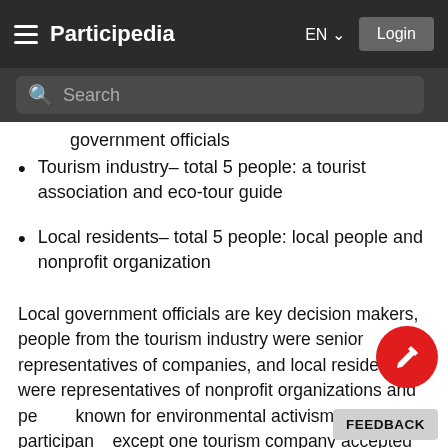Participedia EN Login
government officials
Tourism industry– total 5 people: a tourist association and eco-tour guide
Local residents– total 5 people: local people and nonprofit organization
Local government officials are key decision makers, people from the tourism industry were senior representatives of companies, and local residents were representatives of nonprofit organizations and people known for environmental activism. All participants except one tourism company accepted the attendance to the deliberative meeting.